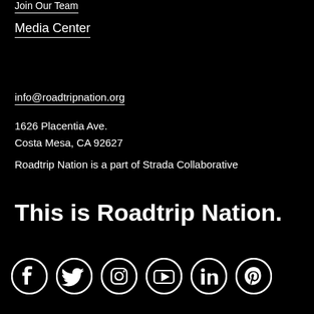Join Our Team
Media Center
info@roadtripnation.org
1626 Placentia Ave.
Costa Mesa, CA 92627
Roadtrip Nation is a part of Strada Collaborative
This is Roadtrip Nation.
[Figure (infographic): Row of social media icons: Facebook, Twitter, Instagram, YouTube, LinkedIn, Pinterest]